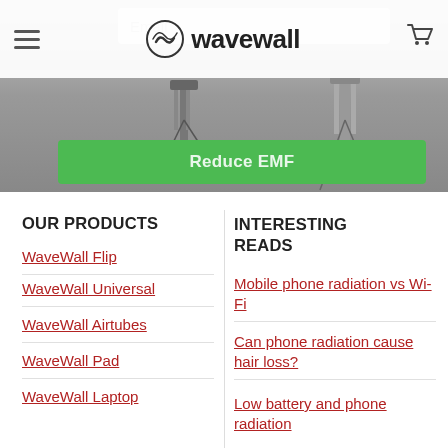wavewall
[Figure (screenshot): Hero image showing cell tower/antenna equipment with a green 'Reduce EMF' button and email input field overlaid on top]
OUR PRODUCTS
WaveWall Flip
WaveWall Universal
WaveWall Airtubes
WaveWall Pad
WaveWall Laptop
INTERESTING READS
Mobile phone radiation vs Wi-Fi
Can phone radiation cause hair loss?
Low battery and phone radiation